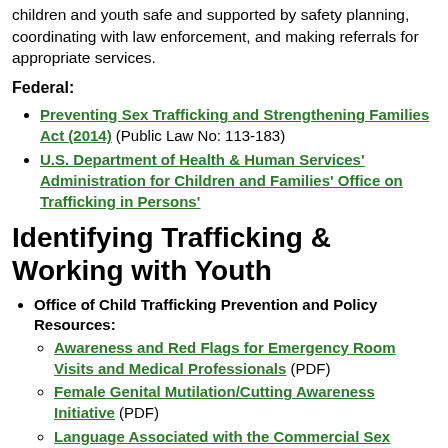children and youth safe and supported by safety planning, coordinating with law enforcement, and making referrals for appropriate services.
Federal:
Preventing Sex Trafficking and Strengthening Families Act (2014) (Public Law No: 113-183)
U.S. Department of Health & Human Services' Administration for Children and Families' Office on Trafficking in Persons'
Identifying Trafficking & Working with Youth
Office of Child Trafficking Prevention and Policy Resources:
Awareness and Red Flags for Emergency Room Visits and Medical Professionals (PDF)
Female Genital Mutilation/Cutting Awareness Initiative (PDF)
Language Associated with the Commercial Sex Industry (PDF)
"Movin' On": The NYC Child Tattoo Eradication